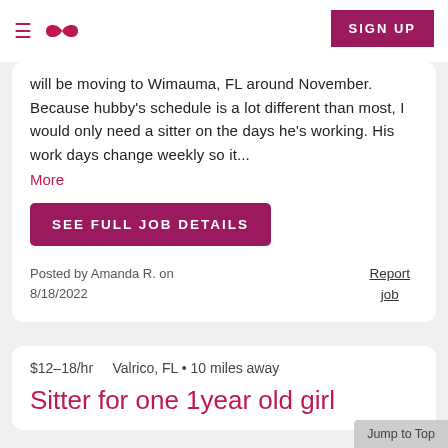≡  [logo]  SIGN UP
will be moving to Wimauma, FL around November. Because hubby's schedule is a lot different than most, I would only need a sitter on the days he's working. His work days change weekly so it...
More
SEE FULL JOB DETAILS
Posted by Amanda R. on 8/18/2022
Report job
$12–18/hr    Valrico, FL • 10 miles away
Sitter for one 1year old girl